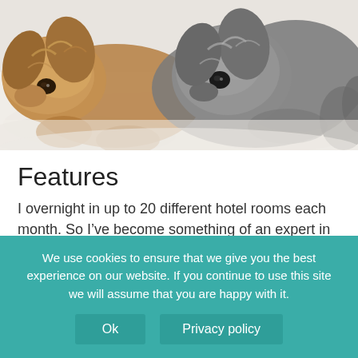[Figure (photo): Two dogs — one brown/golden and one gray — lying together on white bedding, photographed from above/side angle]
Features
I overnight in up to 20 different hotel rooms each month. So I've become something of an expert in "hotel stay-ology". (That's a real degree. University of Phoenix confirmed it.)
We use cookies to ensure that we give you the best experience on our website. If you continue to use this site we will assume that you are happy with it.